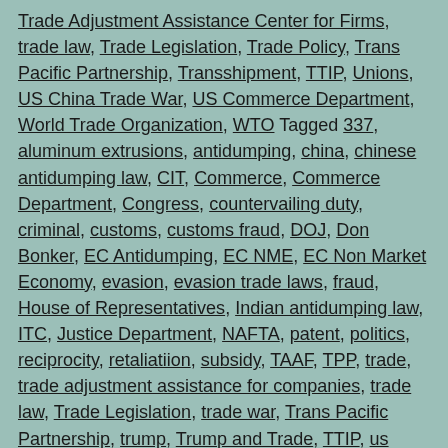Trade Adjustment Assistance Center for Firms, trade law, Trade Legislation, Trade Policy, Trans Pacific Partnership, Transshipment, TTIP, Unions, US China Trade War, US Commerce Department, World Trade Organization, WTO Tagged 337, aluminum extrusions, antidumping, china, chinese antidumping law, CIT, Commerce, Commerce Department, Congress, countervailing duty, criminal, customs, customs fraud, DOJ, Don Bonker, EC Antidumping, EC NME, EC Non Market Economy, evasion, evasion trade laws, fraud, House of Representatives, Indian antidumping law, ITC, Justice Department, NAFTA, patent, politics, reciprocity, retaliatiion, subsidy, TAAF, TPP, trade, trade adjustment assistance for companies, trade law, Trade Legislation, trade war, Trans Pacific Partnership, trump, Trump and Trade, TTIP, us china trade war